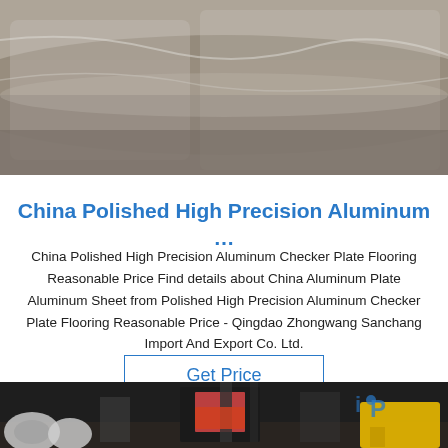[Figure (photo): Aluminum checker plate rolls wrapped in plastic sheeting, stacked in warehouse]
China Polished High Precision Aluminum …
China Polished High Precision Aluminum Checker Plate Flooring Reasonable Price Find details about China Aluminum Plate Aluminum Sheet from Polished High Precision Aluminum Checker Plate Flooring Reasonable Price - Qingdao Zhongwang Sanchang Import And Export Co. Ltd.
Get Price
[Figure (photo): Industrial manufacturing facility with heavy machinery, aluminum coils, and forklifts; iOP watermark visible]